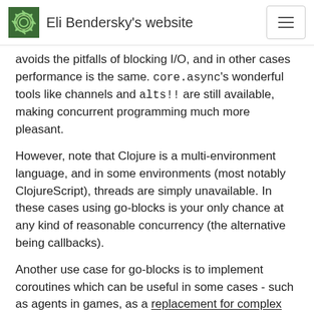Eli Bendersky's website
avoids the pitfalls of blocking I/O, and in other cases performance is the same. core.async's wonderful tools like channels and alts!! are still available, making concurrent programming much more pleasant.
However, note that Clojure is a multi-environment language, and in some environments (most notably ClojureScript), threads are simply unavailable. In these cases using go-blocks is your only chance at any kind of reasonable concurrency (the alternative being callbacks).
Another use case for go-blocks is to implement coroutines which can be useful in some cases - such as agents in games, as a replacement for complex state machines, etc. But here again, beware of the actual scale. If it's possible to use threads, just use threads. go-blocks are trickier to use correctly and one has to be always aware of what may block, lest performance is dramatically degraded.